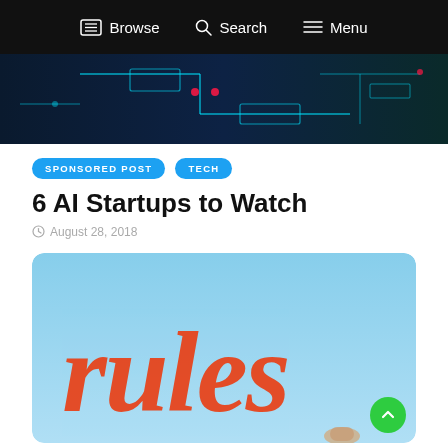Browse  Search  Menu
[Figure (photo): Tech/AI themed hero image with circuit board and blue/teal neon lighting on dark background]
SPONSORED POST   TECH
6 AI Startups to Watch
August 28, 2018
[Figure (photo): Light blue background image with large orange cursive text reading 'rules', with a hand holding a marker writing it]